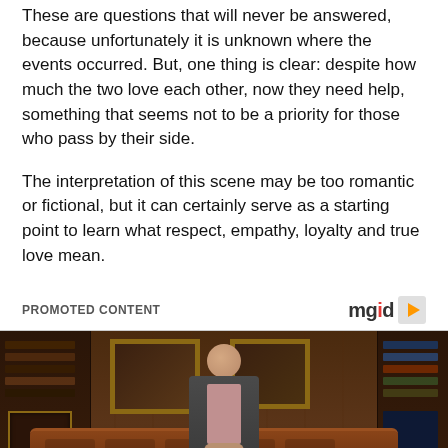These are questions that will never be answered, because unfortunately it is unknown where the events occurred. But, one thing is clear: despite how much the two love each other, now they need help, something that seems not to be a priority for those who pass by their side.
The interpretation of this scene may be too romantic or fictional, but it can certainly serve as a starting point to learn what respect, empathy, loyalty and true love mean.
PROMOTED CONTENT
[Figure (photo): An elderly man in a grey suit sitting on a brown leather Chesterfield sofa in a wood-paneled study with bookshelves and framed paintings on the wall.]